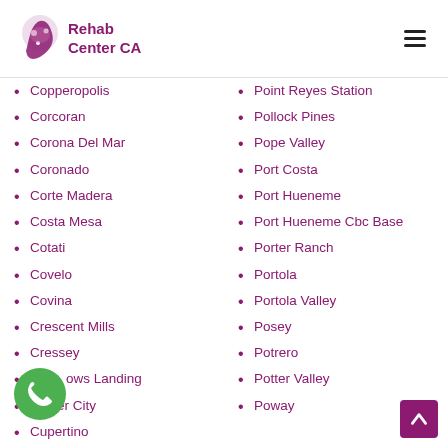Rehab Center CA
Copperopolis
Corcoran
Corona Del Mar
Coronado
Corte Madera
Costa Mesa
Cotati
Covelo
Covina
Crescent Mills
Cressey
Crows Landing
Culver City
Cupertino
Point Reyes Station
Pollock Pines
Pope Valley
Port Costa
Port Hueneme
Port Hueneme Cbc Base
Porter Ranch
Portola
Portola Valley
Posey
Potrero
Potter Valley
Poway